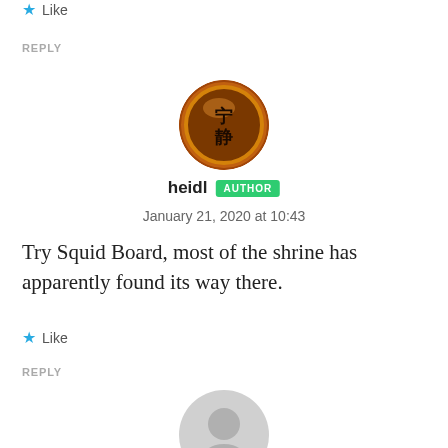★ Like
REPLY
[Figure (photo): Circular avatar image with an orange/brown background showing Chinese characters 宁静]
heidl AUTHOR
January 21, 2020 at 10:43
Try Squid Board, most of the shrine has apparently found its way there.
★ Like
REPLY
[Figure (illustration): Gray circular placeholder avatar icon showing a silhouette of a person]